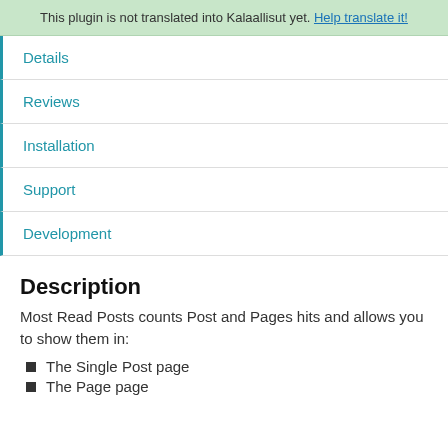This plugin is not translated into Kalaallisut yet. Help translate it!
Details
Reviews
Installation
Support
Development
Description
Most Read Posts counts Post and Pages hits and allows you to show them in:
The Single Post page
The Page page